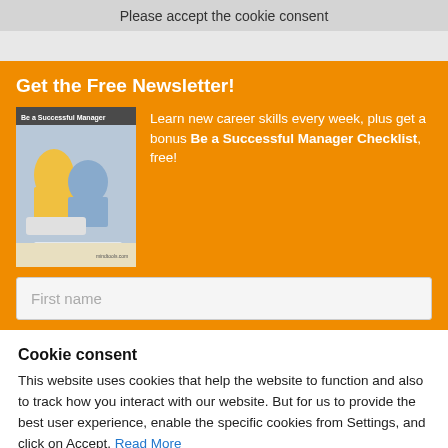Please accept the cookie consent
Get the Free Newsletter!
[Figure (illustration): Book cover for 'Be a Successful Manager' with two people working at a laptop]
Learn new career skills every week, plus get a bonus Be a Successful Manager Checklist, free!
First name
Cookie consent
This website uses cookies that help the website to function and also to track how you interact with our website. But for us to provide the best user experience, enable the specific cookies from Settings, and click on Accept. Read More